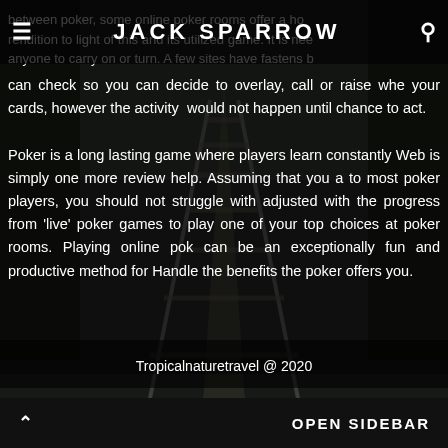JACK SPARROW
between poker, some online poker rooms offer a ho rendition to light of this and its utilized game. It is nec anyone to carry on or turn. A few sites have fastens b can check so you can decide to overlay, call or raise whe your cards, however the activity would not happen until chance to act.
Poker is a long lasting game where players learn constantly Web is simply one more review help. Assuming that you a to most poker players, you should not struggle with adjusted with the progress from 'live' poker games to play one of your top choices at poker rooms. Playing online pok can be an exceptionally fun and productive method for Handle the benefits the poker offers you.
Tropicalnaturetravel @ 2020
OPEN SIDEBAR